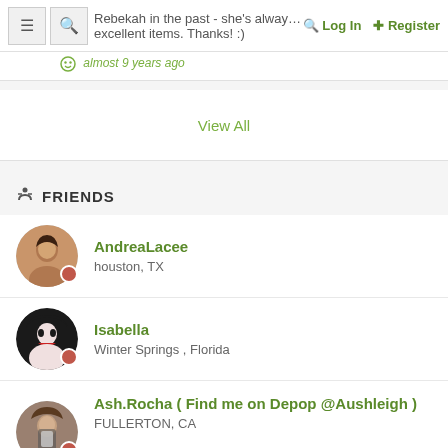≡ 🔍 Rebekah in the past - she's always reliable and has excellent items. Thanks! :) Log In Register
almost 9 years ago
View All
FRIENDS
AndreaLacee
houston, TX
Isabella
Winter Springs , Florida
Ash.Rocha ( Find me on Depop @Aushleigh )
FULLERTON, CA
Melly